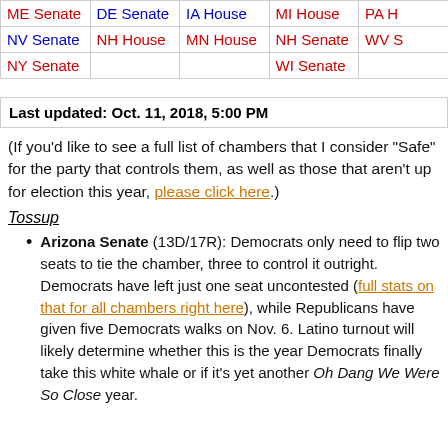| Col1 | Col2 | Col3 | Col4 | Col5 |
| --- | --- | --- | --- | --- |
| ME Senate | DE Senate | IA House | MI House | PA H |
| NV Senate | NH House | MN House | NH Senate | WV S |
| NY Senate |  |  | WI Senate |  |
Last updated: Oct. 11, 2018, 5:00 PM
(If you'd like to see a full list of chambers that I consider “Safe” for the party that controls them, as well as those that aren’t up for election this year, please click here.)
Tossup
Arizona Senate (13D/17R): Democrats only need to flip two seats to tie the chamber, three to control it outright. Democrats have left just one seat uncontested (full stats on that for all chambers right here), while Republicans have given five Democrats walks on Nov. 6. Latino turnout will likely determine whether this is the year Democrats finally take this white whale or if it’s yet another Oh Dang We Were So Close year.